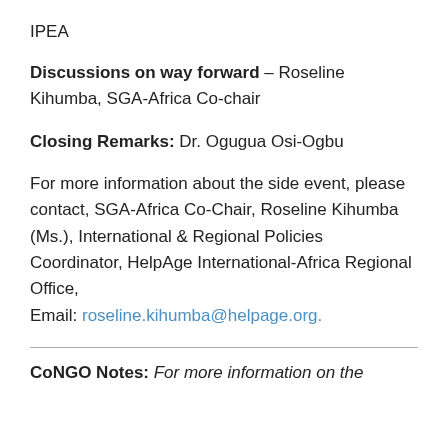IPEA
Discussions on way forward – Roseline Kihumba, SGA-Africa Co-chair
Closing Remarks: Dr. Ogugua Osi-Ogbu
For more information about the side event, please contact, SGA-Africa Co-Chair, Roseline Kihumba (Ms.), International & Regional Policies Coordinator, HelpAge International-Africa Regional Office, Email: roseline.kihumba@helpage.org.
CoNGO Notes: For more information on the